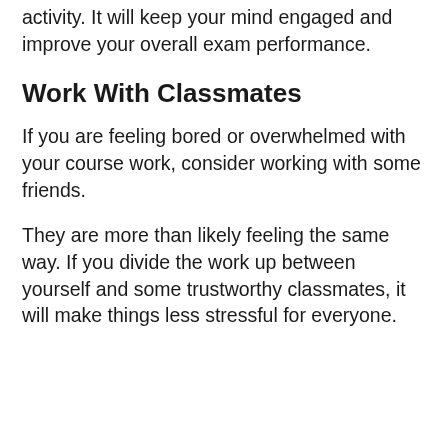activity. It will keep your mind engaged and improve your overall exam performance.
Work With Classmates
If you are feeling bored or overwhelmed with your course work, consider working with some friends.
They are more than likely feeling the same way. If you divide the work up between yourself and some trustworthy classmates, it will make things less stressful for everyone.